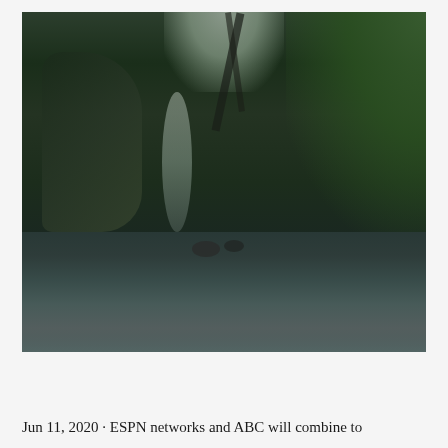[Figure (photo): A nature photograph showing a forest stream or river winding through dense green foliage and dark trees. The water flows in the foreground with rocks visible, surrounded by lush green vegetation and trees. The scene is moody and dark with some light filtering through at the top center.]
Jun 11, 2020 · ESPN networks and ABC will combine to